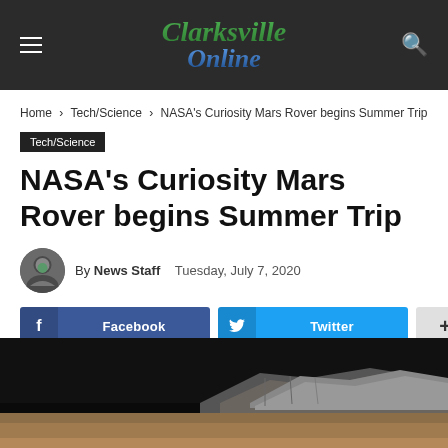[Figure (logo): Clarksville Online website logo with menu and search icons on dark header bar]
Home › Tech/Science › NASA's Curiosity Mars Rover begins Summer Trip
Tech/Science
NASA's Curiosity Mars Rover begins Summer Trip
By News Staff   Tuesday, July 7, 2020
[Figure (photo): Mars surface photograph showing rocky terrain, partially visible at the bottom of the page]